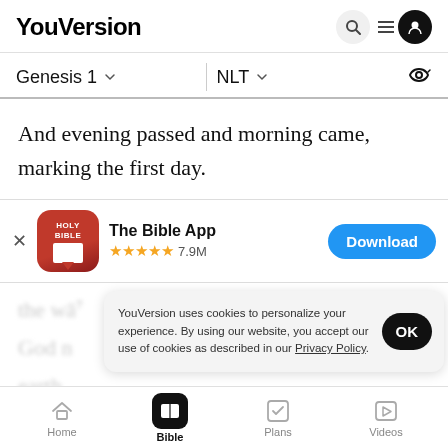YouVersion
Genesis 1 | NLT
And evening passed and morning came, marking the first day.
[Figure (screenshot): The Bible App download banner with Holy Bible icon, 5 star rating 7.9M reviews, and Download button]
the wa... God m... earth...
YouVersion uses cookies to personalize your experience. By using our website, you accept our use of cookies as described in our Privacy Policy.
Home | Bible | Plans | Videos